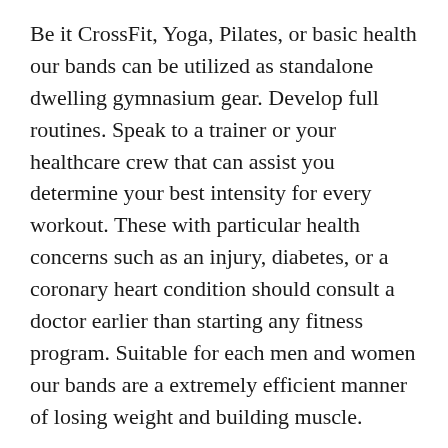Be it CrossFit, Yoga, Pilates, or basic health our bands can be utilized as standalone dwelling gymnasium gear. Develop full routines. Speak to a trainer or your healthcare crew that can assist you determine your best intensity for every workout. These with particular health concerns such as an injury, diabetes, or a coronary heart condition should consult a doctor earlier than starting any fitness program. Suitable for each men and women our bands are a extremely efficient manner of losing weight and building muscle.
Applications for chubby and obese youth ranked in the high 20 of last year's survey, but was kicked off the list for 2017, regardless of the very fact the youth weight problems price has but to decrease in recent years. Though Thompson is glad to see this group targeted by the trade, he is upset one other group has been forgotten: chubby and overweight children and teens. The trade seems to be giving up